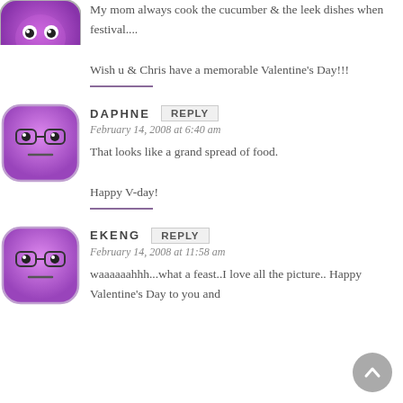[Figure (illustration): Purple cartoon smiley face avatar, partially visible at top]
My mom always cook the cucumber & the leek dishes when festival....
Wish u & Chris have a memorable Valentine's Day!!!
[Figure (illustration): Purple cartoon face avatar with glasses]
DAPHNE
REPLY
February 14, 2008 at 6:40 am
That looks like a grand spread of food.
Happy V-day!
[Figure (illustration): Purple cartoon face avatar with glasses]
EKENG
REPLY
February 14, 2008 at 11:58 am
waaaaaahhh...what a feast..I love all the picture.. Happy Valentine's Day to you and